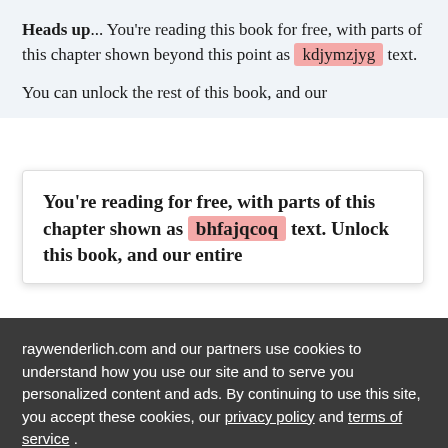Heads up... You're reading this book for free, with parts of this chapter shown beyond this point as kdjymzjyg text.
You can unlock the rest of this book, and our
You're reading for free, with parts of this chapter shown as bhfajqcoq text. Unlock this book, and our entire
raywenderlich.com and our partners use cookies to understand how you use our site and to serve you personalized content and ads. By continuing to use this site, you accept these cookies, our privacy policy and terms of service.
OK ✓
Manage privacy settings